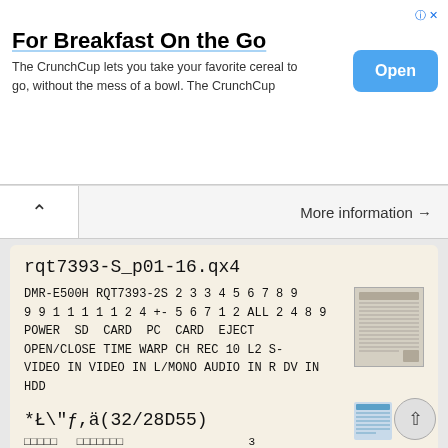For Breakfast On the Go
The CrunchCup lets you take your favorite cereal to go, without the mess of a bowl. The CrunchCup
More information →
rqt7393-S_p01-16.qx4
DMR-E500H RQT7393-2S 2 3 3 4 5 6 7 8 9 9 9 1 1 1 1 1 2 4 +- 5 6 7 1 2 ALL 2 4 8 9 POWER SD CARD PC CARD EJECT OPEN/CLOSE TIME WARP CH REC 10 L2 S-VIDEO IN VIDEO IN L/MONO AUDIO IN R DV IN HDD DVD TIME
More information →
*Ł\"ƒ,ä(32/28D55)
□□□□□  □□□□□□□   3
□□  60   3